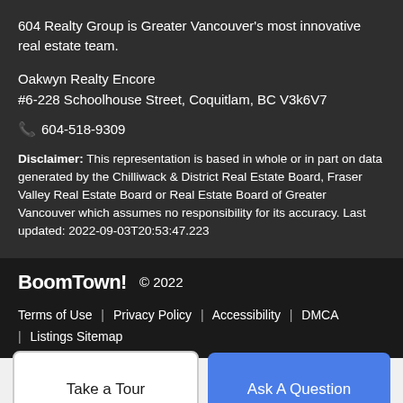604 Realty Group is Greater Vancouver's most innovative real estate team.
Oakwyn Realty Encore
#6-228 Schoolhouse Street, Coquitlam, BC V3k6V7
📞 604-518-9309
Disclaimer: This representation is based in whole or in part on data generated by the Chilliwack & District Real Estate Board, Fraser Valley Real Estate Board or Real Estate Board of Greater Vancouver which assumes no responsibility for its accuracy. Last updated: 2022-09-03T20:53:47.223
BoomTown! © 2022
Terms of Use | Privacy Policy | Accessibility | DMCA | Listings Sitemap
Take a Tour
Ask A Question